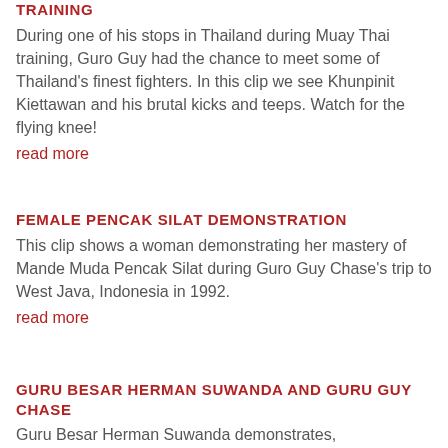TRAINING
During one of his stops in Thailand during Muay Thai training, Guro Guy had the chance to meet some of Thailand's finest fighters. In this clip we see Khunpinit Kiettawan and his brutal kicks and teeps. Watch for the flying knee!
read more
FEMALE PENCAK SILAT DEMONSTRATION
This clip shows a woman demonstrating her mastery of Mande Muda Pencak Silat during Guro Guy Chase's trip to West Java, Indonesia in 1992.
read more
GURU BESAR HERMAN SUWANDA AND GURU GUY CHASE
Guru Besar Herman Suwanda demonstrates,